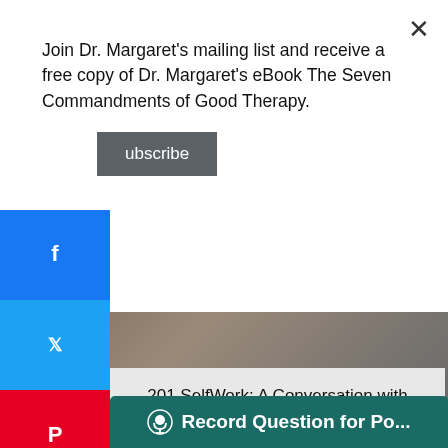Join Dr. Margaret's mailing list and receive a free copy of Dr. Margaret's eBook The Seven Commandments of Good Therapy.
Subscribe
[Figure (screenshot): Social share bar with Facebook, Twitter, Pinterest icons and a plus button]
201 SelfWork: A Conversation with Terri Cheney, author of Manic and
[Figure (other): Podcast player with ellipsis menu, play button, rewind 15, forward 60, speed 1x, and volume controls]
[Figure (photo): Partial photo at the bottom of the page]
Record Question for Po...